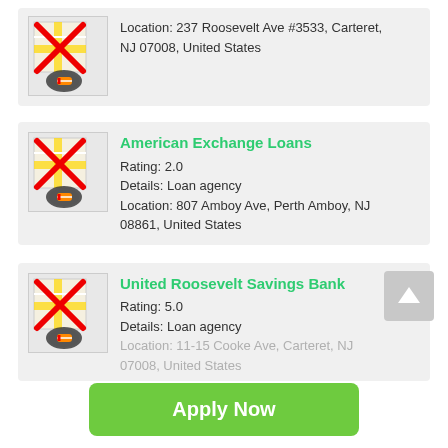Location: 237 Roosevelt Ave #3533, Carteret, NJ 07008, United States
American Exchange Loans
Rating: 2.0
Details: Loan agency
Location: 807 Amboy Ave, Perth Amboy, NJ 08861, United States
United Roosevelt Savings Bank
Rating: 5.0
Details: Loan agency
Location: 11-15 Cooke Ave, Carteret, NJ 07008, United States
[Figure (screenshot): Apply Now button - green rounded rectangle with white bold text]
Applying does NOT affect your credit score!
No credit check to apply.
Rating: 4.4